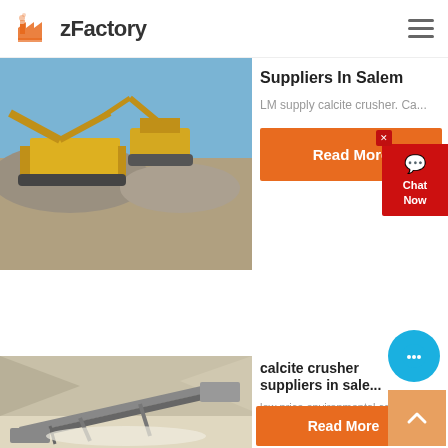zFactory
[Figure (photo): Yellow excavator and crushing machinery at a quarry/stone crushing site with blue sky background]
Suppliers In Salem
LM supply calcite crusher. Ca...
Read More
[Figure (photo): Conveyor belt and mining equipment at a white stone quarry site]
calcite crusher suppliers in sale...
low price environmental calcite c...
Read More